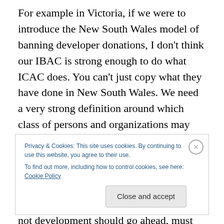For example in Victoria, if we were to introduce the New South Wales model of banning developer donations, I don't think our IBAC is strong enough to do what ICAC does. You can't just copy what they have done in New South Wales. We need a very strong definition around which class of persons and organizations may not make a donation, and mechanisms to stop the transfer funds via a third party as well. However the principle is absolutely the right one. That councils which deal so often in making assessments of whether or not development should go ahead, must not ever be influenced. The constituent
Privacy & Cookies: This site uses cookies. By continuing to use this website, you agree to their use.
To find out more, including how to control cookies, see here: Cookie Policy